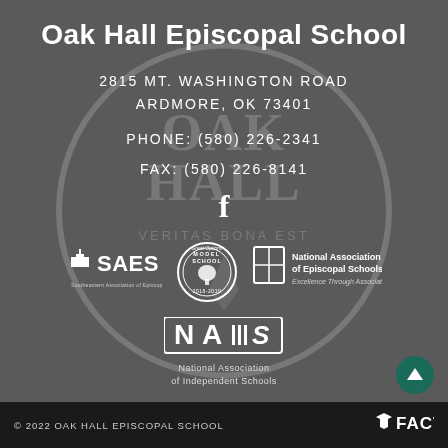Oak Hall Episcopal School
2815 MT. WASHINGTON ROAD
ARDMORE, OK 73401
PHONE: (580) 226-2341
FAX: (580) 226-8141
[Figure (logo): Facebook 'f' icon]
[Figure (logo): SAES - Southeastern Association of Episcopal Schools logo]
[Figure (logo): Model School Great Options 2018-2019 circular badge]
[Figure (logo): National Association of Episcopal Schools logo with shield and text 'Excellence Through Association']
[Figure (logo): NAIS - National Association of Independent Schools logo with text below]
© 2022 OAK HALL EPISCOPAL SCHOOL
[Figure (logo): FACTS logo in footer]